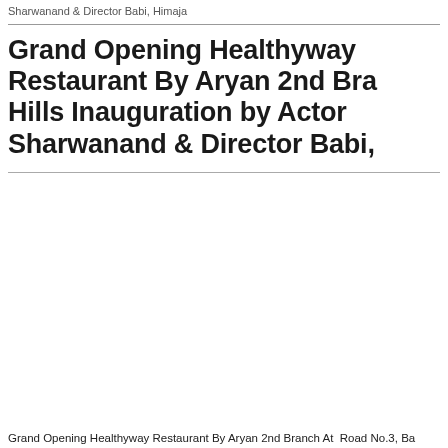Sharwanand & Director Babi, Himaja
Grand Opening Healthyway Restaurant By Aryan 2nd Branch At Hills Inauguration by Actor Sharwanand & Director Babi,
[Figure (photo): Photo area - large image placeholder for restaurant grand opening event]
Grand Opening Healthyway Restaurant By Aryan 2nd Branch At  Road No.3, Ba